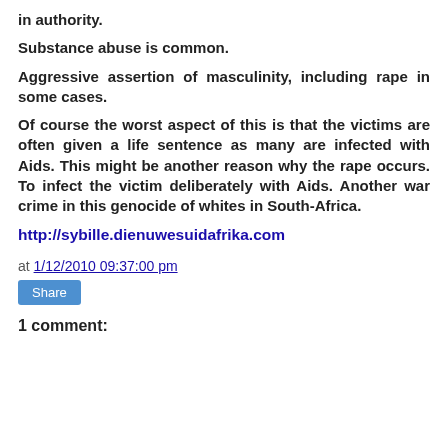in authority.
Substance abuse is common.
Aggressive assertion of masculinity, including rape in some cases.
Of course the worst aspect of this is that the victims are often given a life sentence as many are infected with Aids. This might be another reason why the rape occurs. To infect the victim deliberately with Aids. Another war crime in this genocide of whites in South-Africa.
http://sybille.dienuwesuidafrika.com
at 1/12/2010 09:37:00 pm
Share
1 comment: